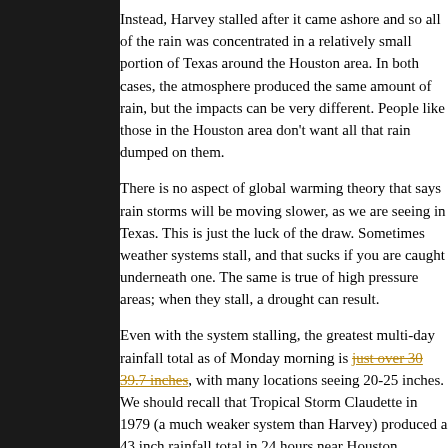Instead, Harvey stalled after it came ashore and so all of the rain was concentrated in a relatively small portion of Texas around the Houston area. In both cases, the atmosphere produced the same amount of rain, but the impacts can be very different. People like those in the Houston area don't want all that rain dumped on them.
There is no aspect of global warming theory that says rain storms will be moving slower, as we are seeing in Texas. This is just the luck of the draw. Sometimes weather systems stall, and that sucks if you are caught underneath one. The same is true of high pressure areas; when they stall, a drought can result.
Even with the system stalling, the greatest multi-day rainfall total as of Monday morning is just over 30 39.7 inches, with many locations seeing 20-25 inches. We should recall that Tropical Storm Claudette in 1979 (a much weaker system than Harvey) produced a 43 inch rainfall total in 24 hours near Houston.
Was Harvey unprecedented in intensity?
In this case, we didn't have just a tropical storm like Claudette, but a hurricane which covered a much larger area with heavy rain. Roger Pi...